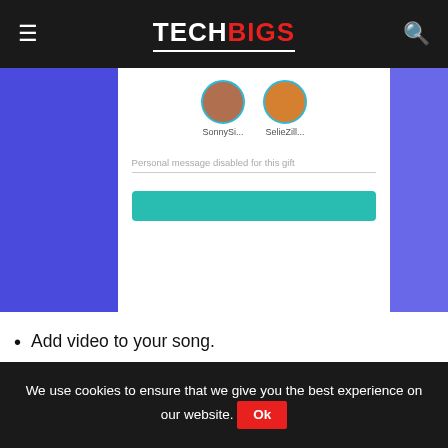TECHBIGS
[Figure (screenshot): Mobile app screenshot showing two user avatars (SonnySi... and SelieZill...), a personal message input field with placeholder text 'Personal message disabled for this gift', and a teal send button at the bottom. Blue sidebar visible on left.]
Add video to your song.
Work on video editing as well as sound editing with the help of a wide variety of dedicated tools.
Let others join you either offline or online. Even people from 2 different poles can connect together and start singing.
Befriends with people on the platform. Share your creatio
We use cookies to ensure that we give you the best experience on our website. Ok